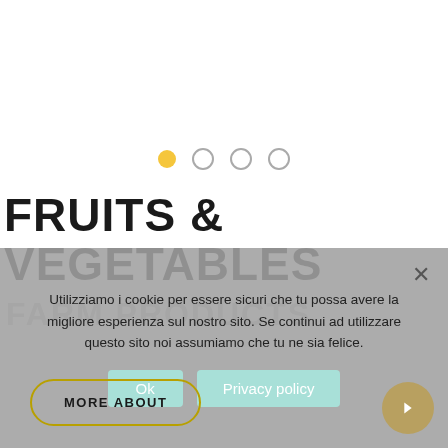[Figure (other): Carousel navigation dots: one filled yellow dot and three empty grey circle dots]
FRUITS & VEGETABLES
FARM PRODUCTS
[Figure (other): Cookie consent overlay with message in Italian, Ok button, Privacy policy button, and close X button]
MORE ABOUT